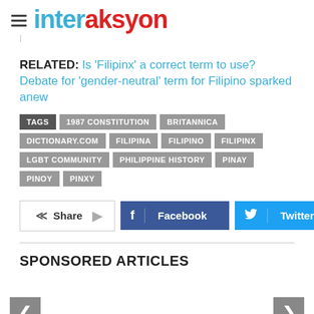interaksyon
RELATED: Is 'Filipinx' a correct term to use? Debate for 'gender-neutral' term for Filipino sparked anew
TAGS: 1987 CONSTITUTION | BRITANNICA | DICTIONARY.COM | FILIPINA | FILIPINO | FILIPINX | LGBT COMMUNITY | PHILIPPINE HISTORY | PINAY | PINOY | PINXY
Share | Facebook | Twitter
SPONSORED ARTICLES